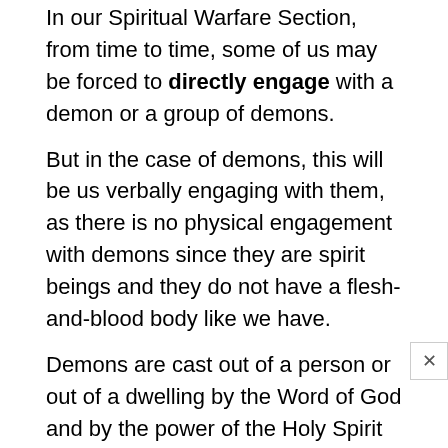In our Spiritual Warfare Section, from time to time, some of us may be forced to directly engage with a demon or a group of demons.
But in the case of demons, this will be us verbally engaging with them, as there is no physical engagement with demons since they are spirit beings and they do not have a flesh-and-blood body like we have.
Demons are cast out of a person or out of a dwelling by the Word of God and by the power of the Holy Spirit moving against them.
We say the right command words to drive them out, and then the Holy Spirit will move against them to drive them out of the person or the house